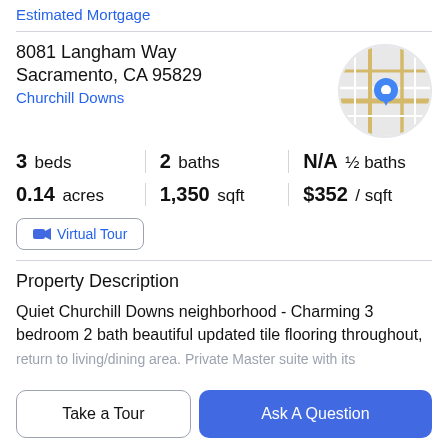Estimated Mortgage
8081 Langham Way
Sacramento, CA 95829
Churchill Downs
[Figure (map): Circular map thumbnail showing street map with a blue location pin marker]
3 beds  |  2 baths  |  N/A ½ baths
0.14 acres  |  1,350 sqft  |  $352 / sqft
Virtual Tour
Property Description
Quiet Churchill Downs neighborhood - Charming 3 bedroom 2 bath beautiful updated tile flooring throughout,
Take a Tour
Ask A Question